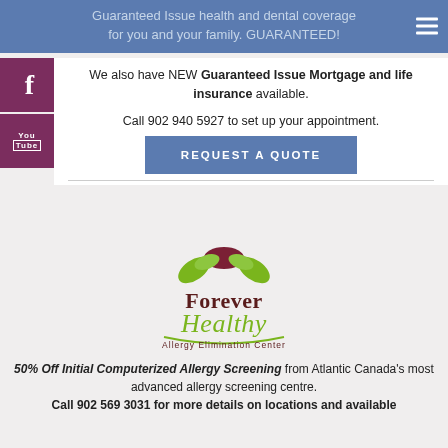Guaranteed Issue health and dental coverage for you and your family. GUARANTEED!
We also have NEW Guaranteed Issue Mortgage and life insurance available.
Call 902 940 5927 to set up your appointment.
[Figure (logo): Facebook icon button (purple/maroon square with white f)]
[Figure (logo): YouTube icon button (purple/maroon square with You Tube text)]
[Figure (other): Blue REQUEST A QUOTE button]
[Figure (logo): Forever Healthy Allergy Elimination Center logo with green and maroon leaf design]
50% Off Initial Computerized Allergy Screening from Atlantic Canada's most advanced allergy screening centre. Call 902 569 3031 for more details on locations and available